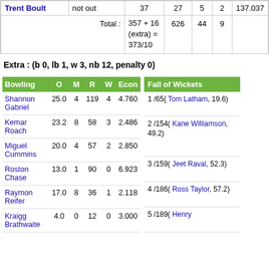| Batsman | Dismissal | R | B | 4s | 6s | SR |
| --- | --- | --- | --- | --- | --- | --- |
| Trent Boult | not out | 37 | 27 | 5 | 2 | 137.037 |
|  | Total : | 357 + 16 (extra) = 373/10 | 626 | 44 | 9 |  |
Extra : (b 0, lb 1, w 3, nb 12, penalty 0)
| Bowling | O | M | R | W | Econ |
| --- | --- | --- | --- | --- | --- |
| Shannon Gabriel | 25.0 | 4 | 119 | 4 | 4.760 |
| Kemar Roach | 23.2 | 8 | 58 | 3 | 2.486 |
| Miguel Cummins | 20.0 | 4 | 57 | 2 | 2.850 |
| Roston Chase | 13.0 | 1 | 90 | 0 | 6.923 |
| Raymon Reifer | 17.0 | 8 | 36 | 1 | 2.118 |
| Kraigg Brathwaite | 4.0 | 0 | 12 | 0 | 3.000 |
| Fall of Wickets |
| --- |
| 1 /65( Tom Latham, 19.6) |
| 2 /154( Kane Williamson, 49.2) |
| 3 /159( Jeet Raval, 52.3) |
| 4 /186( Ross Taylor, 57.2) |
| 5 /189( Henry ... |